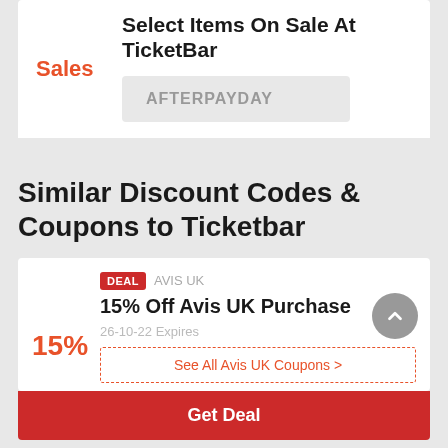Select Items On Sale At TicketBar
Sales
AFTERPAYDAY
Similar Discount Codes & Coupons to Ticketbar
DEAL  AVIS UK
15% Off Avis UK Purchase
26-10-22 Expires
15%
See All Avis UK Coupons >
Get Deal